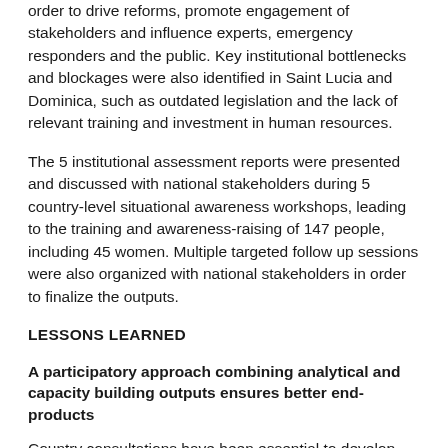order to drive reforms, promote engagement of stakeholders and influence experts, emergency responders and the public. Key institutional bottlenecks and blockages were also identified in Saint Lucia and Dominica, such as outdated legislation and the lack of relevant training and investment in human resources.
The 5 institutional assessment reports were presented and discussed with national stakeholders during 5 country-level situational awareness workshops, leading to the training and awareness-raising of 147 people, including 45 women. Multiple targeted follow up sessions were also organized with national stakeholders in order to finalize the outputs.
LESSONS LEARNED
A participatory approach combining analytical and capacity building outputs ensures better end-products
Country consultations have been essential to develop the